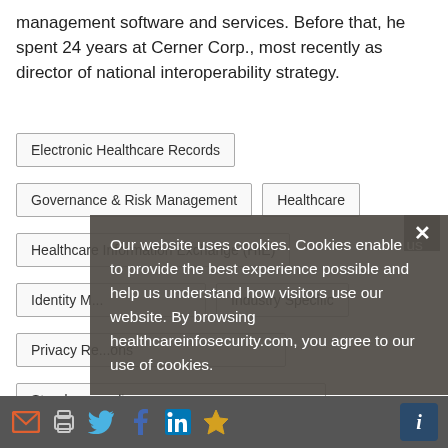management software and services. Before that, he spent 24 years at Cerner Corp., most recently as director of national interoperability strategy.
Electronic Healthcare Records
Governance & Risk Management
Healthcare
Healthcare Information Exchange (HIE)
Identity [Management]
Industry Specific
Privacy [Regulations]
Standards [Compliance]
Our website uses cookies. Cookies enable us to provide the best experience possible and help us understand how visitors use our website. By browsing healthcareinfosecurity.com, you agree to our use of cookies.
[social/share icons: email, print, Twitter, Facebook, LinkedIn, bookmark, info]